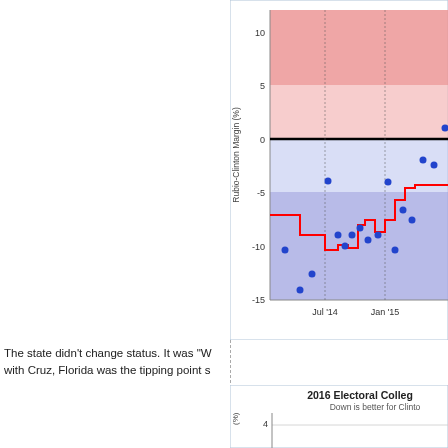[Figure (continuous-plot): Line chart showing Rubio-Clinton Margin (%) over time from before Jul '14 to after Jan '15. Y-axis ranges from -15 to above 10. Red shaded region above 0 (Republican favored), blue shaded region below 0 (Democrat favored). Red step line tracks polling average around -7 to -5. Blue dots show individual polls ranging from -15 to +6.]
The state didn't change status. It was "W with Cruz, Florida was the tipping point s
[Figure (continuous-plot): Partial view of a chart titled '2016 Electoral Colleg' with subtitle 'Down is better for Clinto'. Y-axis label visible showing (%) and value 4 visible. Chart is cut off.]